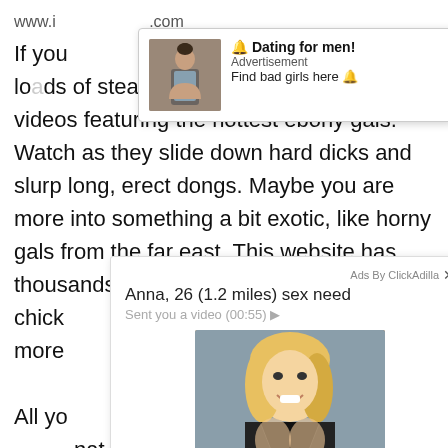www.indiansexbazar.com
If you visit this site you will be able to find loads of steamy Porno (Full HD Porn Film) videos featuring the hottest ebony gals. Watch as they slide down hard dicks and slurp long, erect dongs. Maybe you are more into something a bit exotic, like horny gals from the far east. This website has thousands of videos with many Hot Asian chicks and much more
[Figure (other): Advertisement popup: Dating for men! - Find bad girls here, with profile photo of a woman]
[Figure (other): Advertisement popup: Anna, 26 (1.2 miles) sex need - Sent you a video (00:55), with photo of a blonde woman in black lingerie. Ads By ClickAdilla label with X close button. 2nd label.]
All you nat strike ou see th erial availa er, there neck them
All of the xxx porn videos on this website are in maximum